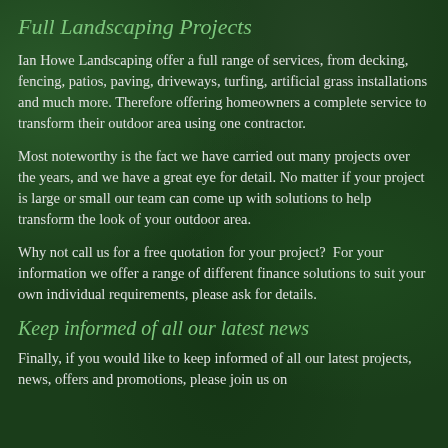Full Landscaping Projects
Ian Howe Landscaping offer a full range of services, from decking, fencing, patios, paving, driveways, turfing, artificial grass installations and much more. Therefore offering homeowners a complete service to transform their outdoor area using one contractor.
Most noteworthy is the fact we have carried out many projects over the years, and we have a great eye for detail. No matter if your project is large or small our team can come up with solutions to help transform the look of your outdoor area.
Why not call us for a free quotation for your project?  For your information we offer a range of different finance solutions to suit your own individual requirements, please ask for details.
Keep informed of all our latest news
Finally, if you would like to keep informed of all our latest projects, news, offers and promotions, please join us on